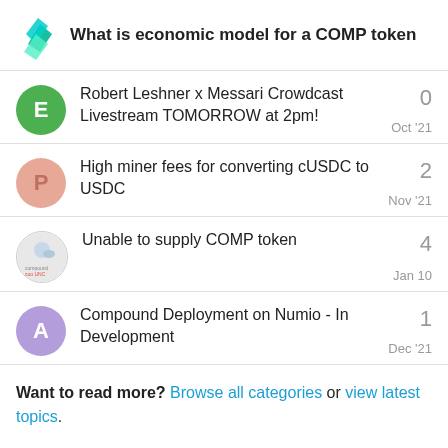What is economic model for a COMP token
Robert Leshner x Messari Crowdcast Livestream TOMORROW at 2pm! — 0 — Oct '21
High miner fees for converting cUSDC to USDC — 2 — Nov '21
Unable to supply COMP token — 4 — Jan 10
Compound Deployment on Numio - In Development — 1 — Dec '21
Want to read more? Browse all categories or view latest topics.